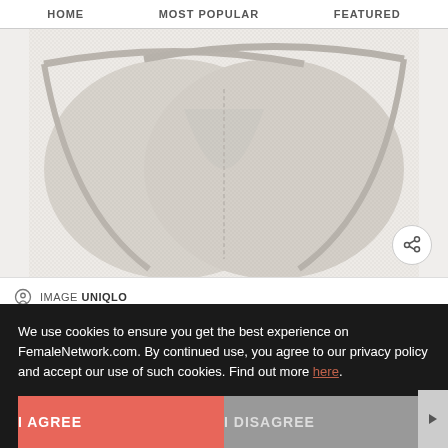HOME   MOST POPULAR   FEATURED
[Figure (photo): Product photo of light gray heather bikini underwear (two pairs shown overlapping) from Uniqlo, displayed on a light gray background]
IMAGE UNIQLO
We use cookies to ensure you get the best experience on FemaleNetwork.com. By continued use, you agree to our privacy policy and accept our use of such cookies. Find out more here.
I AGREE   I DISAGREE